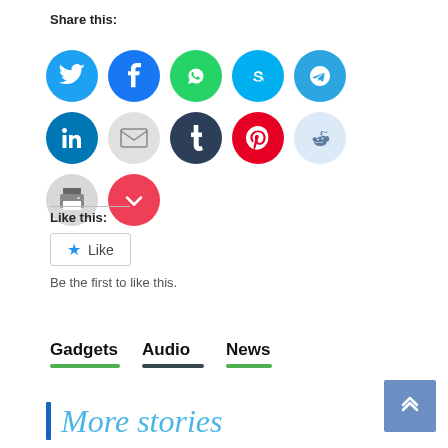Share this:
[Figure (infographic): Row of social media sharing icon circles: Twitter (blue), Facebook (blue), WhatsApp (green), Skype (light blue), Telegram (blue), LinkedIn (dark blue), Email (grey), Tumblr (dark navy), Pinterest (red), Reddit (light blue), Print (grey), Pocket (red)]
Like this:
[Figure (other): WordPress Like button widget with star icon and 'Like' text]
Be the first to like this.
Gadgets   Audio   News
More stories